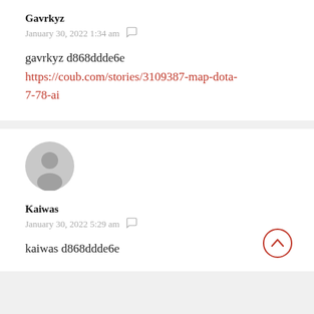Gavrkyz
January 30, 2022 1:34 am
gavrkyz d868ddde6e
https://coub.com/stories/3109387-map-dota-7-78-ai
[Figure (illustration): Default user avatar - grey circle with silhouette]
Kaiwas
January 30, 2022 5:29 am
kaiwas d868ddde6e